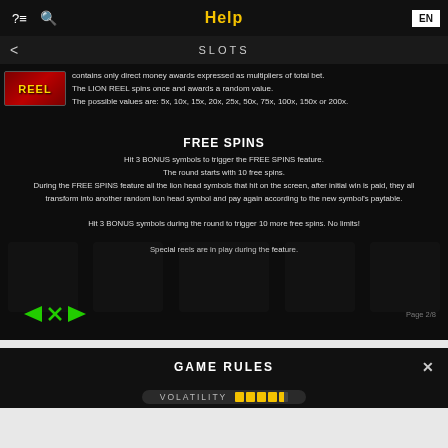Help
SLOTS
contains only direct money awards expressed as multipliers of total bet. The LION REEL spins once and awards a random value. The possible values are: 5x, 10x, 15x, 20x, 25x, 50x, 75x, 100x, 150x or 200x.
FREE SPINS
Hit 3 BONUS symbols to trigger the FREE SPINS feature.
The round starts with 10 free spins.
During the FREE SPINS feature all the lion head symbols that hit on the screen, after initial win is paid, they all transform into another random lion head symbol and pay again according to the new symbol's paytable.
Hit 3 BONUS symbols during the round to trigger 10 more free spins. No limits!
Special reels are in play during the feature.
Page 2/8
GAME RULES
VOLATILITY